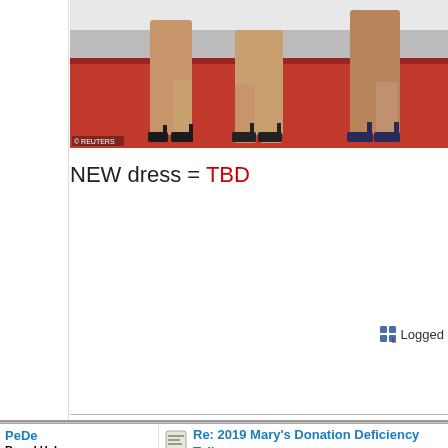[Figure (photo): Cropped photo showing legs in high heels on a red carpet, with © REUTERS watermark]
NEW dress = TBD
Logged
PeDe
Board Helper
Most Exalted Member
★★★★★★★★★★★★★★★
Reputation: 6117
Offline
[Figure (photo): German flag icon]
Germany
Posts: 35471
[Figure (illustration): Golden Triforce / Zelda-style logo illustration]
Re: 2019 Mary's Donation Deficiency Tally
« Reply #55 on: June 25, 2019, 01:18:12 AM »
June 24
Visit to Paris - Day 2
[Figure (photo): Photo of people at Visit to Paris Day 2 event, partial image at bottom]